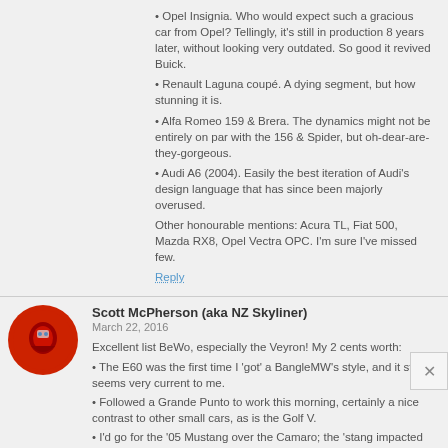• Opel Insignia. Who would expect such a gracious car from Opel? Tellingly, it's still in production 8 years later, without looking very outdated. So good it revived Buick.
• Renault Laguna coupé. A dying segment, but how stunning it is.
• Alfa Romeo 159 & Brera. The dynamics might not be entirely on par with the 156 & Spider, but oh-dear-are-they-gorgeous.
• Audi A6 (2004). Easily the best iteration of Audi's design language that has since been majorly overused.
Other honourable mentions: Acura TL, Fiat 500, Mazda RX8, Opel Vectra OPC. I'm sure I've missed few.
Reply
Scott McPherson (aka NZ Skyliner)
March 22, 2016
Excellent list BeWo, especially the Veyron! My 2 cents worth:
• The E60 was the first time I 'got' a BangleMW's style, and it still seems very current to me.
• Followed a Grande Punto to work this morning, certainly a nice contrast to other small cars, as is the Golf V.
• I'd go for the '05 Mustang over the Camaro; the 'stang impacted much more strongly with me upon launch than the slit-windowed Camaro. It seemed to signal a brave and confident Ford.
• The Jag XF is right up there with the Veyron. I actually prefer the old XF to the new one which seems to have lost its way a bit.